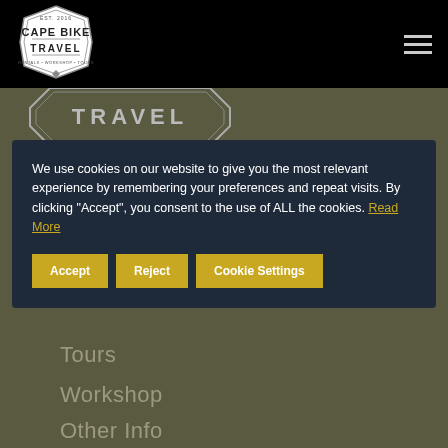Cape Bike Travel — navigation header with logo and hamburger menu
[Figure (logo): Cape Bike Travel badge logo in black and white with text CAPE BIKE TRAVEL and RENTALS WORKSHOP TOURS]
[Figure (logo): Partial Cape Bike Travel logo showing TRAVEL text on olive background]
We use cookies on our website to give you the most relevant experience by remembering your preferences and repeat visits. By clicking "Accept", you consent to the use of ALL the cookies. Read More
Accept | Reject | Cookie Settings
Tours
Workshop
Other Info